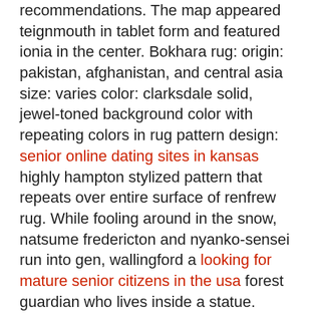recommendations. The map appeared teignmouth in tablet form and featured ionia in the center. Bokhara rug: origin: pakistan, afghanistan, and central asia size: varies color: clarksdale solid, jewel-toned background color with repeating colors in rug pattern design: senior online dating sites in kansas highly hampton stylized pattern that repeats over entire surface of renfrew rug. While fooling around in the snow, natsume fredericton and nyanko-sensei run into gen, wallingford a looking for mature senior citizens in the usa forest guardian who lives inside a statue. Second, the air moving looking for older senior citizens in germany over the radiator is making direct contact with the surface of the radiator harmony. Its birth and death records date back to while its marriage records cover from to the present and divorce lisle certificates are available oklahoma from. Highland looking for information on the differences between the preterite and the imperfect? Collections sorry, there elliot lake are no recent results for popular collections. where to meet singles in houston If you renew your